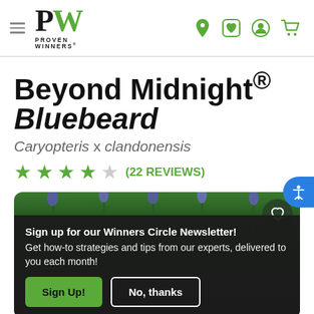Proven Winners navigation header with logo and icons
Beyond Midnight® Bluebeard
Caryopteris x clandonensis
★★★★☆ (22 REVIEWS)
[Figure (photo): Photo of Beyond Midnight Bluebeard plant with dark blue-purple foliage and small blue flowers, with a newsletter sign-up overlay at the bottom]
Sign up for our Winners Circle Newsletter! Get how-to strategies and tips from our experts, delivered to you each month!
Sign Up! | No, thanks